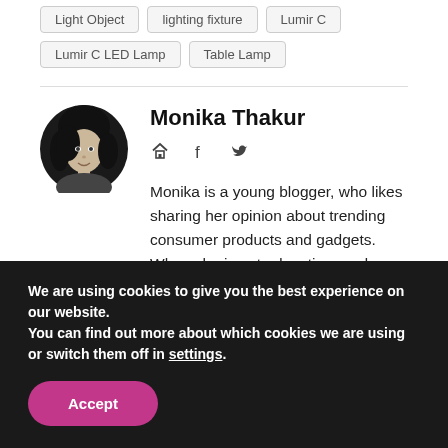Light Object
lighting fixture
Lumir C
Lumir C LED Lamp
Table Lamp
[Figure (photo): Circular profile photo of Monika Thakur, a young woman with dark hair, black and white photograph]
Monika Thakur
Social media icons: home, facebook, twitter
Monika is a young blogger, who likes sharing her opinion about trending consumer products and gadgets. When she is not educating readers with her writings, she's most likely
We are using cookies to give you the best experience on our website.
You can find out more about which cookies we are using or switch them off in settings.
Accept